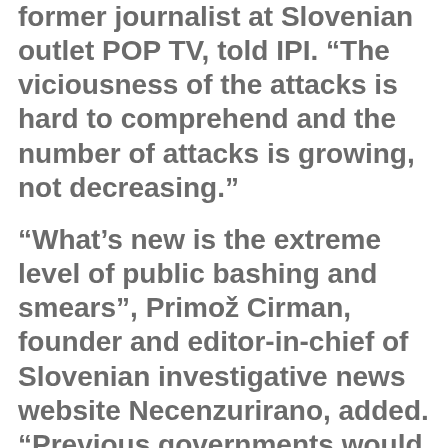former journalist at Slovenian outlet POP TV, told IPI. “The viciousness of the attacks is hard to comprehend and the number of attacks is growing, not decreasing.”
“What’s new is the extreme level of public bashing and smears”, Primož Cirman, founder and editor-in-chief of Slovenian investigative news website Necenzurirano, added. “Previous governments would of course be angry at coverage and there would be some level of criticism. But press freedom was respected. You didn’t have a situation where there are personal attacks on critical journalists.”
“In general, the climate has become much more adversarial”. Aljaž Pengov